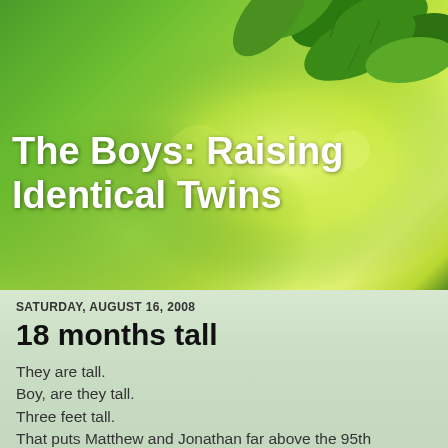[Figure (photo): Green leaves bokeh background image used as blog header]
The Boys: Raising Identical Twins
SATURDAY, AUGUST 16, 2008
18 months tall
They are tall.
Boy, are they tall.
Three feet tall.
That puts Matthew and Jonathan far above the 95th percentile compared to their male peers, just like our two older kids.
We grow them big.
Matthew is the more svelte of the two at 28 pounds, seven ounces, according to the doctor's scale. Jonathan weighed in at 29 pounds, three ounces, during their appointment Monday. Both ranked at the 75th percentile for weight, which